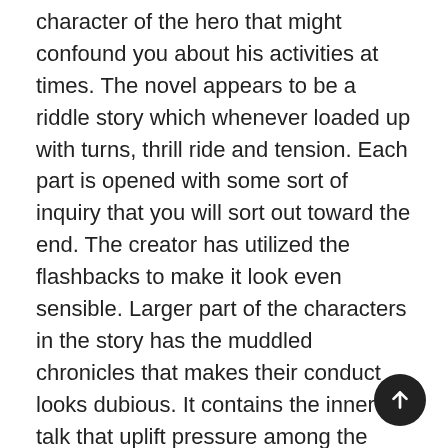character of the hero that might confound you about his activities at times. The novel appears to be a riddle story which whenever loaded up with turns, thrill ride and tension. Each part is opened with some sort of inquiry that you will sort out toward the end. The creator has utilized the flashbacks to make it look even sensible. Larger part of the characters in the story has the muddled chronicles that makes their conduct looks dubious. It contains the inner talk that uplift pressure among the perusers. There are equal plot lines for bad guys and auxiliary characters which brings up more space to raise issues and anticipation. The presentation of new characters develops the world. Improving the story, filling it with a complicated construction. The plot extends,